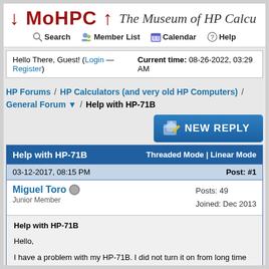↓ MoHPC ↑   The Museum of HP Calcu...
Search  Member List  Calendar  Help
Hello There, Guest! (Login — Register)   Current time: 08-26-2022, 03:29 AM
HP Forums / HP Calculators (and very old HP Computers) / General Forum ▼ / Help with HP-71B
[Figure (other): NEW REPLY button with pencil/reply icon]
Help with HP-71B   Threaded Mode | Linear Mode
03-12-2017, 08:15 PM   Post: #1
Miguel Toro  [offline icon]  Junior Member   Posts: 49  Joined: Dec 2013
Help with HP-71B

Hello,

I have a problem with my HP-71B. I did not turn it on from long time and when I tried today, it displayed the Memory Lost message and nothing else happened. I pressed several keys and did the display some chars without their corresponding key...